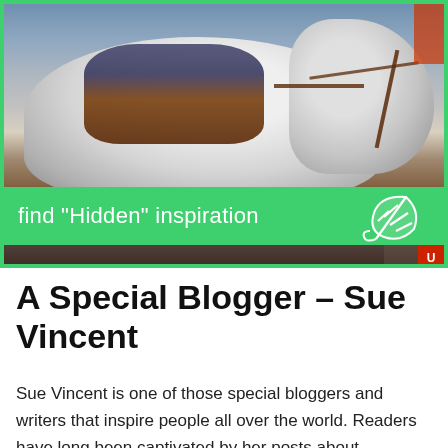[Figure (photo): Photo of a person riding a white horse at what appears to be a rodeo or equestrian event, with brown leather harness and saddle. A green banner overlays the middle of the image with the text 'find "Hidden" inspiration' and a white feather/leaf icon. A darker strip runs along the bottom of the image.]
A Special Blogger – Sue Vincent
Sue Vincent is one of those special bloggers and writers that inspire people all over the world. Readers have long been captivated by her posts about mythology, ancient ruins and medieval churches, and her daily